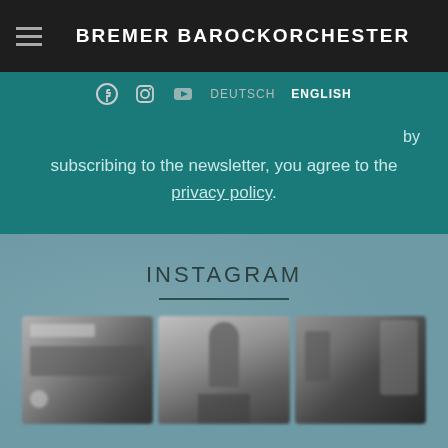BREMER BAROCKORCHESTER
DEUTSCH  ENGLISH
By subscribing to the newsletter, you agree to the privacy policy.
INSTAGRAM
[Figure (photo): Three blurred Instagram photos: first shows a graphic/poster, second shows a person with an instrument, third shows a person in dark lighting.]